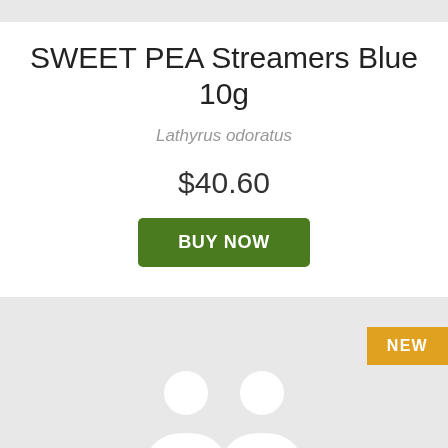SWEET PEA Streamers Blue 10g
Lathyrus odoratus
$40.60
BUY NOW
[Figure (illustration): Product card thumbnail with gray background, a 'NEW' badge in amber/orange, and a white silhouette placeholder icon of a person/product at the bottom.]